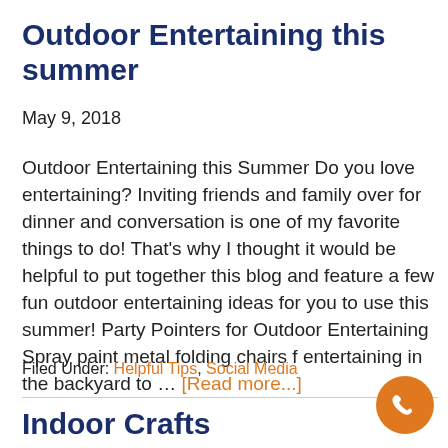Outdoor Entertaining this summer
May 9, 2018
Outdoor Entertaining this Summer Do you love entertaining? Inviting friends and family over for dinner and conversation is one of my favorite things to do! That's why I thought it would be helpful to put together this blog and feature a few fun outdoor entertaining ideas for you to use this summer! Party Pointers for Outdoor Entertaining Spray paint metal folding chairs for entertaining in the backyard to … [Read more...]
Filed Under: Helpful Tips, Social Media
Indoor Crafts